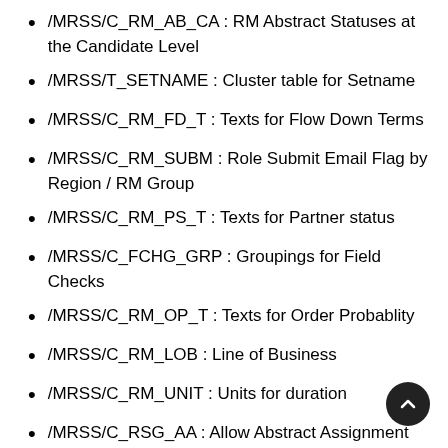/MRSS/C_RM_AB_CA : RM Abstract Statuses at the Candidate Level
/MRSS/T_SETNAME : Cluster table for Setname
/MRSS/C_RM_FD_T : Texts for Flow Down Terms
/MRSS/C_RM_SUBM : Role Submit Email Flag by Region / RM Group
/MRSS/C_RM_PS_T : Texts for Partner status
/MRSS/C_FCHG_GRP : Groupings for Field Checks
/MRSS/C_RM_OP_T : Texts for Order Probablity
/MRSS/C_RM_LOB : Line of Business
/MRSS/C_RM_UNIT : Units for duration
/MRSS/C_RSG_AA : Allow Abstract Assignment